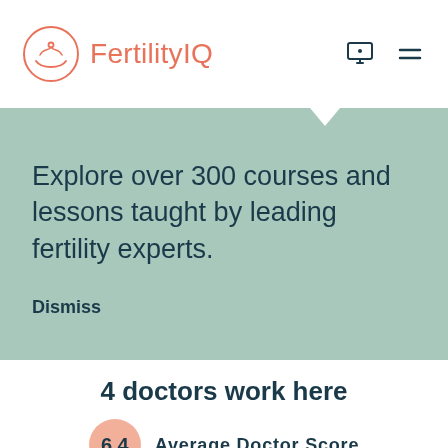FertilityIQ
Explore over 300 courses and lessons taught by leading fertility experts.
Dismiss
4 doctors work here
6.4  Average Doctor Score